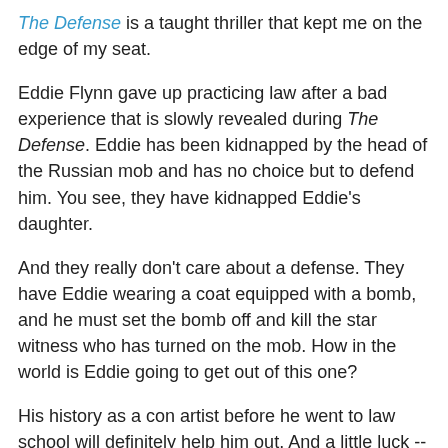The Defense is a taught thriller that kept me on the edge of my seat.
Eddie Flynn gave up practicing law after a bad experience that is slowly revealed during The Defense. Eddie has been kidnapped by the head of the Russian mob and has no choice but to defend him. You see, they have kidnapped Eddie's daughter.
And they really don't care about a defense. They have Eddie wearing a coat equipped with a bomb, and he must set the bomb off and kill the star witness who has turned on the mob. How in the world is Eddie going to get out of this one?
His history as a con artist before he went to law school will definitely help him out. And a little luck -- there were some parts that were a little bit beyond belief, but still, the plotting was gut-wrenching. The Defense has so many unexpected twists and close calls that I may have had to stop listening once in a while so my heart could stop pounding. The bad guys were scary, the good guys were stupid, and Eddie is a pawn through all of it.